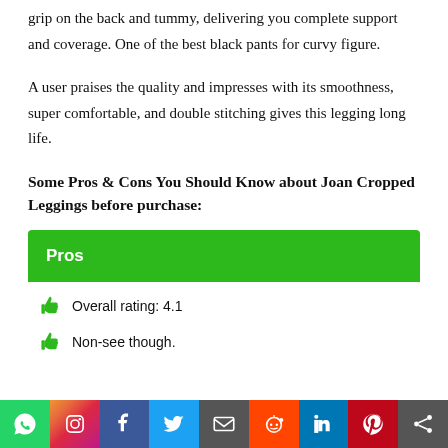grip on the back and tummy, delivering you complete support and coverage. One of the best black pants for curvy figure.
A user praises the quality and impresses with its smoothness, super comfortable, and double stitching gives this legging long life.
Some Pros & Cons You Should Know about Joan Cropped Leggings before purchase:
| Pros |
| --- |
| Overall rating: 4.1 |
| Non-see though. |
Social share bar: WhatsApp, Instagram, Facebook, Twitter, Email, Reddit, LinkedIn, Pinterest, Share